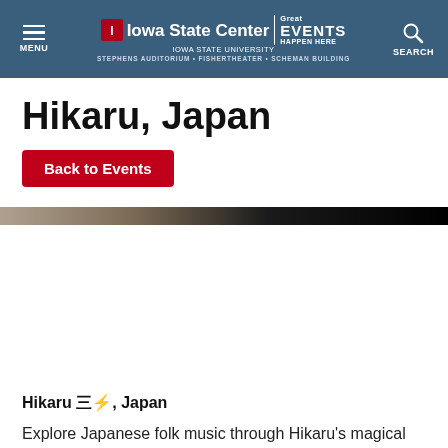Iowa State Center — Great Events Happen Here | Iowa State University | Stephens Auditorium • Fishertheater • Scheman Building
Hikaru, Japan
Back to Events
[Figure (photo): A partial image strip showing a dark/brown toned photo, likely of a performer or instrument, cropped to a thin horizontal band.]
Hikaru 三, Japan
Explore Japanese folk music through Hikaru's magical melodies and striking rhythms. The distinctive 3-string